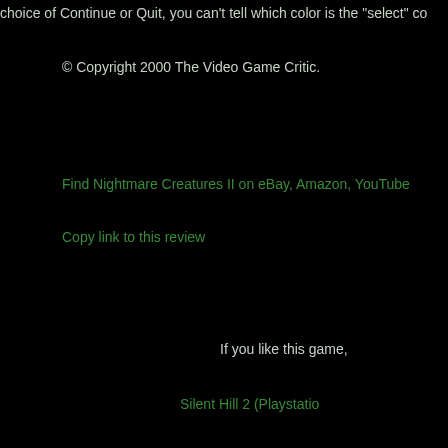choice of Continue or Quit, you can't tell which color is the "select" co
© Copyright 2000 The Video Game Critic.
Find Nightmare Creatures II on eBay, Amazon, YouTube
Copy link to this review
If you like this game,
Silent Hill 2 (Playstatio
Surf Rocket Racers (Drea
Select new range: [Previous] [A] [B] [C] [D] [E] [F] [G] [H] [
[Dream
Screen shots courtesy of IGN.com, Gaming Age Online, Shinforce, Se
Dreamcast.c